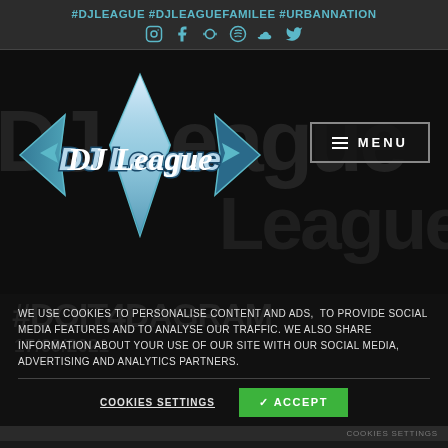#DJLEAGUE #DJLEAGUEFAMILEE #URBANNATION
[Figure (logo): DJ League stylized logo with blue graffiti-style lettering and arrow/lightning bolt design, on dark background with decorative watermark. MENU button visible top right.]
WE USE COOKIES TO PERSONALISE CONTENT AND ADS, TO PROVIDE SOCIAL MEDIA FEATURES AND TO ANALYSE OUR TRAFFIC. WE ALSO SHARE INFORMATION ABOUT YOUR USE OF OUR SITE WITH OUR SOCIAL MEDIA, ADVERTISING AND ANALYTICS PARTNERS.
COOKIES SETTINGS   ✓ ACCEPT
COOKIES SETTINGS